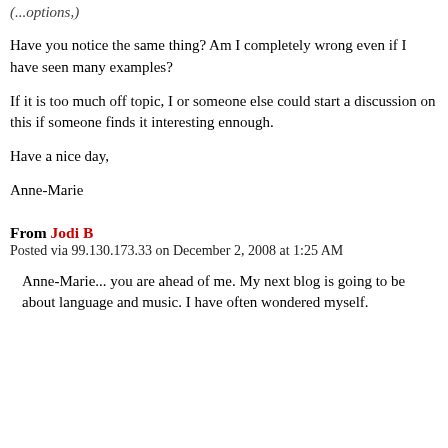Have you notice the same thing? Am I completely wrong even if I have seen many examples?
If it is too much off topic, I or someone else could start a discussion on this if someone finds it interesting ennough.
Have a nice day,
Anne-Marie
From Jodi B
Posted via 99.130.173.33 on December 2, 2008 at 1:25 AM
Anne-Marie... you are ahead of me. My next blog is going to be about language and music. I have often wondered myself.